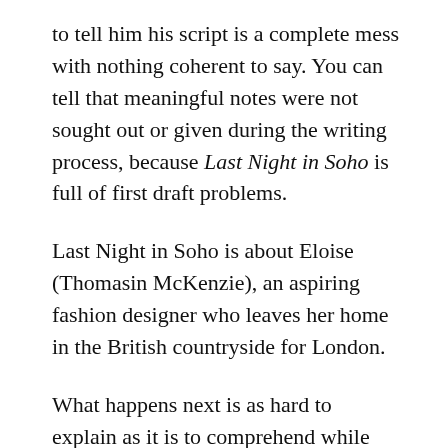to tell him his script is a complete mess with nothing coherent to say. You can tell that meaningful notes were not sought out or given during the writing process, because Last Night in Soho is full of first draft problems.
Last Night in Soho is about Eloise (Thomasin McKenzie), an aspiring fashion designer who leaves her home in the British countryside for London.
What happens next is as hard to explain as it is to comprehend while watching: Eloise has vivid waking (and not waking) dreams even before she arrives in London, but when she gets there, her apartment is also perhaps haunted. The